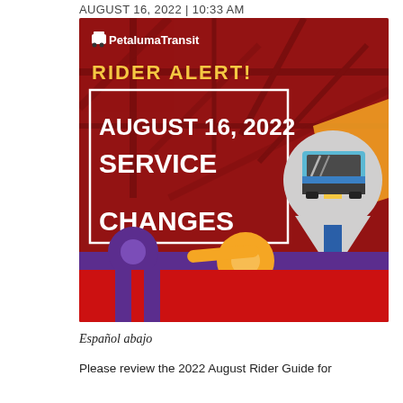AUGUST 16, 2022 | 10:33 AM
[Figure (infographic): Petaluma Transit Rider Alert graphic with dark red background, showing 'RIDER ALERT!' in yellow text, 'AUGUST 16, 2022 SERVICE CHANGES' in large white bold text inside a white-bordered rectangle, and an illustration of a blue bus inside a map pin icon, with colorful transit route map pin icons (purple, orange, blue) at the bottom.]
Español abajo
Please review the 2022 August Rider Guide for